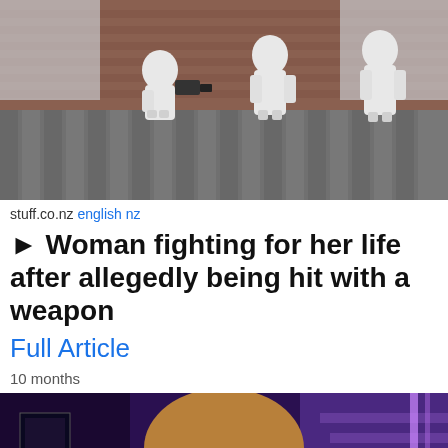[Figure (photo): Forensic investigators in white hazmat suits working outside a brick building near a wooden fence]
stuff.co.nz english nz
► Woman fighting for her life after allegedly being hit with a weapon
Full Article
10 months
[Figure (photo): Young woman with long blonde/brown hair smiling at camera in a venue with purple/blue lighting and stairs in background]